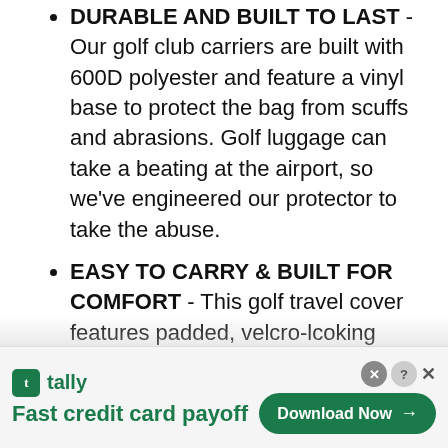DURABLE AND BUILT TO LAST - Our golf club carriers are built with 600D polyester and feature a vinyl base to protect the bag from scuffs and abrasions. Golf luggage can take a beating at the airport, so we've engineered our protector to take the abuse.
EASY TO CARRY & BUILT FOR COMFORT - This golf travel cover features padded, velcro-lcoking carrying handles. A padded shoulder strap further allows you to carry the
[Figure (infographic): Tally app advertisement banner. Shows Tally logo (green square with 't' icon) and name, tagline 'Fast credit card payoff', and a green 'Download Now' button with arrow. Includes close (X) and help (?) buttons.]